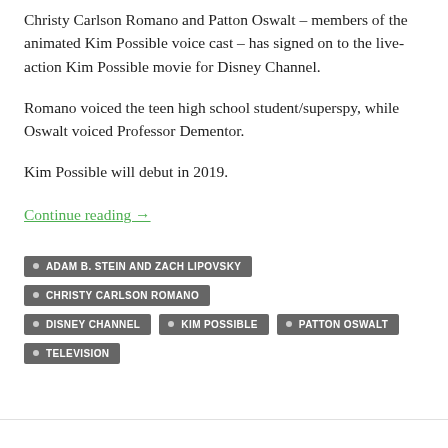Christy Carlson Romano and Patton Oswalt – members of the animated Kim Possible voice cast – has signed on to the live-action Kim Possible movie for Disney Channel.
Romano voiced the teen high school student/superspy, while Oswalt voiced Professor Dementor.
Kim Possible will debut in 2019.
Continue reading →
ADAM B. STEIN AND ZACH LIPOVSKY
CHRISTY CARLSON ROMANO
DISNEY CHANNEL
KIM POSSIBLE
PATTON OSWALT
TELEVISION